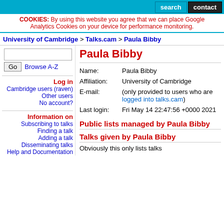search  contact
COOKIES: By using this website you agree that we can place Google Analytics Cookies on your device for performance monitoring.
University of Cambridge > Talks.cam > Paula Bibby
Go  Browse A-Z
Log in
Cambridge users (raven)
Other users
No account?
Information on
Subscribing to talks
Finding a talk
Adding a talk
Disseminating talks
Help and Documentation
Paula Bibby
| Field | Value |
| --- | --- |
| Name: | Paula Bibby |
| Affiliation: | University of Cambridge |
| E-mail: | (only provided to users who are logged into talks.cam) |
| Last login: | Fri May 14 22:47:56 +0000 2021 |
Public lists managed by Paula Bibby
Talks given by Paula Bibby
Obviously this only lists talks